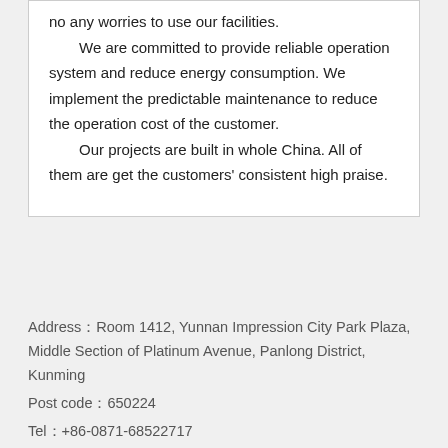no any worries to use our facilities.

We are committed to provide reliable operation system and reduce energy consumption. We implement the predictable maintenance to reduce the operation cost of the customer.

Our projects are built in whole China. All of them are get the customers' consistent high praise.
Address：Room 1412, Yunnan Impression City Park Plaza, Middle Section of Platinum Avenue, Panlong District, Kunming
Post code：650224
Tel：+86-0871-68522717
E-mail：info@kmllre.cn
Website：www.kmllre.cn